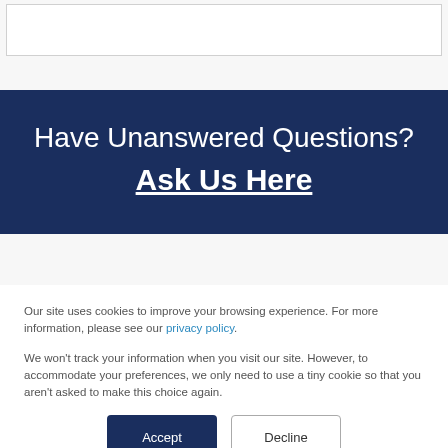Have Unanswered Questions? Ask Us Here
Our site uses cookies to improve your browsing experience. For more information, please see our privacy policy.
We won't track your information when you visit our site. However, to accommodate your preferences, we only need to use a tiny cookie so that you aren't asked to make this choice again.